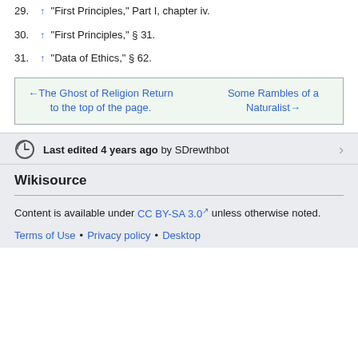29. ↑ "First Principles," Part I, chapter iv.
30. ↑ "First Principles," § 31.
31. ↑ "Data of Ethics," § 62.
←The Ghost of Religion Return to the top of the page. Some Rambles of a Naturalist→
Last edited 4 years ago by SDrewthbot
Wikisource
Content is available under CC BY-SA 3.0 unless otherwise noted.
Terms of Use • Privacy policy • Desktop